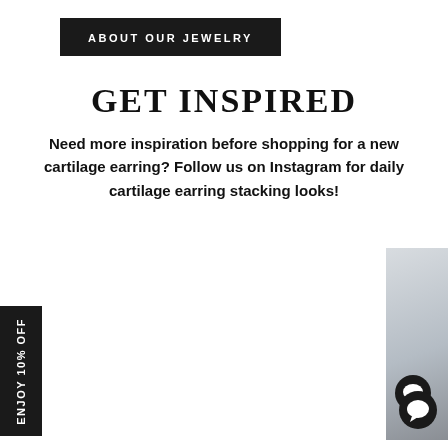ABOUT OUR JEWELRY
GET INSPIRED
Need more inspiration before shopping for a new cartilage earring? Follow us on Instagram for daily cartilage earring stacking looks!
[Figure (screenshot): Instagram-style card with 'CUSTOMER: ROCIO' label, 'STYLING SERVICE' heading, two side-by-side photos of an ear — left plain, right with multiple gold cartilage earrings stacked. Black 'Earn Rewards' banner at bottom left.]